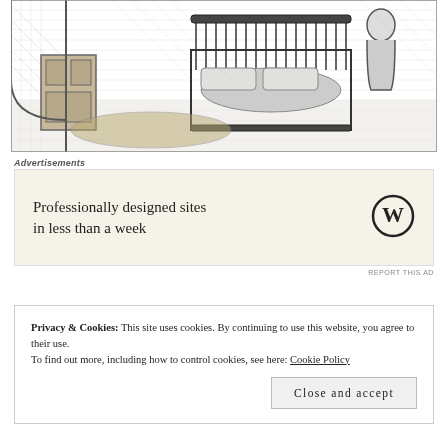[Figure (illustration): Black and white sketch illustration of a bedroom interior scene with a bed, iron headboard, furniture, and a figure visible through a doorway or window in the background.]
Advertisements
[Figure (other): Advertisement banner with cream background. Text reads: 'Professionally designed sites in less than a week'. WordPress logo (W in circle) on the right.]
REPORT THIS AD
Privacy & Cookies: This site uses cookies. By continuing to use this website, you agree to their use.
To find out more, including how to control cookies, see here: Cookie Policy
Close and accept